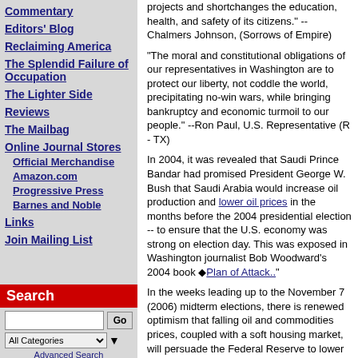Commentary
Editors' Blog
Reclaiming America
The Splendid Failure of Occupation
The Lighter Side
Reviews
The Mailbag
Online Journal Stores
Official Merchandise
Amazon.com
Progressive Press
Barnes and Noble
Links
Join Mailing List
Search
projects and shortchanges the education, health, and safety of its citizens." --Chalmers Johnson, (Sorrows of Empire)
"The moral and constitutional obligations of our representatives in Washington are to protect our liberty, not coddle the world, precipitating no-win wars, while bringing bankruptcy and economic turmoil to our people." --Ron Paul, U.S. Representative (R - TX)
In 2004, it was revealed that Saudi Prince Bandar had promised President George W. Bush that Saudi Arabia would increase oil production and lower oil prices in the months before the 2004 presidential election -- to ensure that the U.S. economy was strong on election day. This was exposed in Washington journalist Bob Woodward's 2004 book ◆Plan of Attack.."
In the weeks leading up to the November 7 (2006) midterm elections, there is renewed optimism that falling oil and commodities prices, coupled with a soft housing market, will persuade the Federal Reserve to lower interest rates next year, and not raise them further. The bond market, while also sending messages that inflation is not an